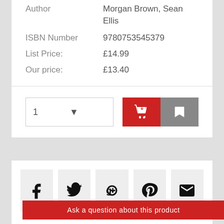| Author | Morgan Brown, Sean Ellis |
| ISBN Number | 9780753545379 |
| List Price: | £14.99 |
| Our price: | £13.40 |
[Figure (screenshot): Quantity selector dropdown showing '1' and two buttons: red add-to-cart button with shopping cart icon, grey wishlist button with bookmark icon]
[Figure (screenshot): Social sharing icons row: Facebook, Twitter, Google+, Pinterest, Email]
Ask a question about this product